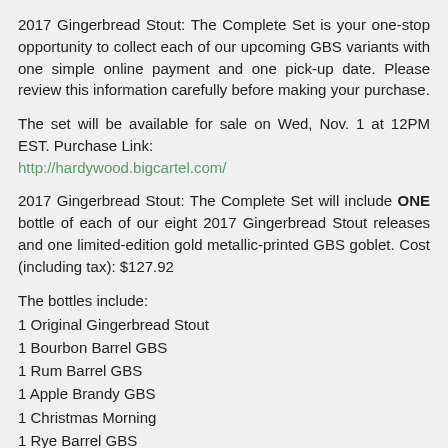2017 Gingerbread Stout: The Complete Set is your one-stop opportunity to collect each of our upcoming GBS variants with one simple online payment and one pick-up date. Please review this information carefully before making your purchase.
The set will be available for sale on Wed, Nov. 1 at 12PM EST. Purchase Link: http://hardywood.bigcartel.com/
2017 Gingerbread Stout: The Complete Set will include ONE bottle of each of our eight 2017 Gingerbread Stout releases and one limited-edition gold metallic-printed GBS goblet. Cost (including tax): $127.92
The bottles include:
1 Original Gingerbread Stout
1 Bourbon Barrel GBS
1 Rum Barrel GBS
1 Apple Brandy GBS
1 Christmas Morning
1 Rye Barrel GBS